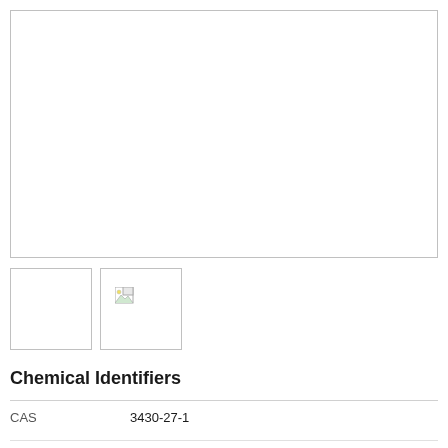[Figure (illustration): Large empty white box with light gray border, likely placeholder for a molecular structure or chemical diagram image.]
[Figure (illustration): Small thumbnail box, empty white box with light gray border.]
[Figure (illustration): Small thumbnail box with a broken image icon visible in the upper left corner.]
Chemical Identifiers
| Property | Value |
| --- | --- |
| CAS | 3430-27-1 |